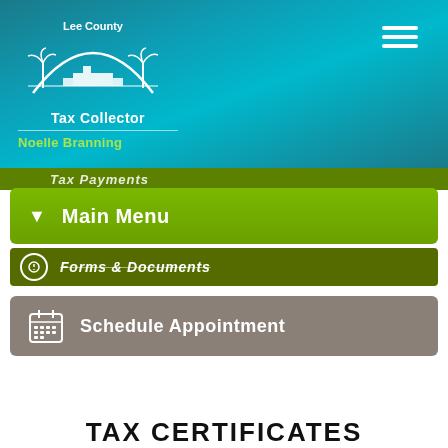[Figure (logo): Lee County Tax Collector logo with palm trees and coastal scene in white on teal/blue gradient background, with hamburger menu icon top right]
Tax Collector
Noelle Branning
▼  Main Menu
Forms & Documents
Schedule Appointment
TAX CERTIFICATES